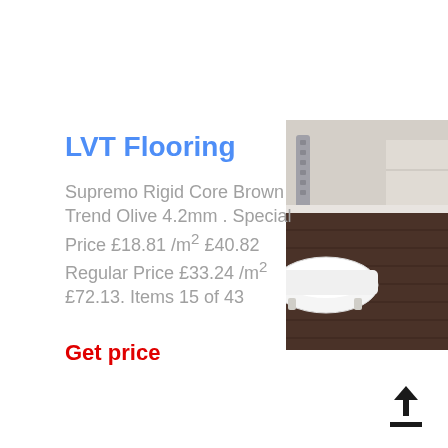LVT Flooring
Supremo Rigid Core Brown Trend Olive 4.2mm . Special Price £18.81 /m² £40.82 Regular Price £33.24 /m² £72.13. Items 15 of 43
Get price
[Figure (photo): Bathroom with dark brown LVT flooring, a white freestanding bathtub, and a metal heated towel rail visible in the background.]
[Figure (other): Upload/share icon — upward arrow above a horizontal line]